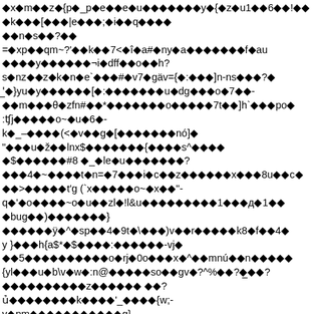◆x◆m◆◆z◆{p◆_p◆e◆◆e◆u◆◆◆◆◆◆◆y◆{◆z◆u1◆◆6◆◆!◆◆◆k◆◆◆[◆◆◆|e◆◆◆;◆i◆◆q◆◆◆◆◆◆n◆s◆◆?◆◆=◆xp◆◆qm~?'◆◆k◆◆7<◆î◆a#◆ny◆a◆◆◆◆◆◆◆f◆au◆◆◆◆y◆◆◆◆◆◆¬i◆dff◆◆o◆◆h?s◆nz◆◆z◆k◆n◆e`◆◆◆#◆v7◆gäv={◆:◆◆◆]n-ns◆◆◆?◆'_◆}yu◆y◆◆◆◆◆◆[◆:◆◆◆◆◆◆◆u◆dg◆◆◆o◆7◆◆-◆◆m◆◆◆θ◆zfn#◆◆*◆◆◆◆◆◆◆o◆◆◆◆◆7t◆◆]h`◆◆◆po◆:ʧj◆◆◆◆◆o~◆u◆6◆-k◆_-◆◆◆◆(<◆v◆◆g◆[◆◆◆◆◆◆◆nó]◆"◆◆◆u◆ž◆◆lnx$◆◆◆◆◆◆◆{◆◆◆◆s^◆◆◆◆◆$◆◆◆◆◆◆#8 ◆_◆le◆u◆◆◆◆◆◆◆?◆◆◆4◆~◆◆◆◆t◆n=◆7◆◆◆i◆c◆◆z◆◆◆◆◆◆x◆◆◆8u◆◆c◆◆◆>◆◆◆◆◆t'g (`x◆◆◆◆◆o~◆x◆◆"-q◆'◆o◆◆◆◆~o◆u◆◆zl◆!l&u◆◆◆◆◆◆◆◆◆1◆◆◆д◆1◆◆◆◆bug◆◆)◆◆◆◆◆◆◆}◆◆◆◆◆◆ÿ◆^◆sp◆◆4◆9t◆\◆◆◆)v◆◆r◆◆◆◆◆k8◆f◆◆4◆◆y }◆◆◆h{a$*◆$◆◆◆◆:◆◆◆◆◆◆-vj◆◆◆5◆◆◆◆◆◆◆◆◆◆o◆rj◆0o◆◆◆x◆^◆◆mnú◆◆n◆◆◆◆◆{yl◆◆◆u◆b\v◆w◆:n@◆◆◆◆◆so◆◆gv◆?^%◆◆?◆◆◆?◆◆◆◆◆◆◆◆◆◆z◆◆◆◆◆◆ ◆◆?ủ◆◆◆◆◆◆◆◆k◆◆◆◆'_◆◆◆◆{w;-v◆pm◆◆◆◆◆◆◆◆◆◆◆g}◆◆g◆5◆◆њΥ◆◆z◆"y%◆ka◆◆lm◆◆z◆a◆◆◆~}^_◆◆◆◆